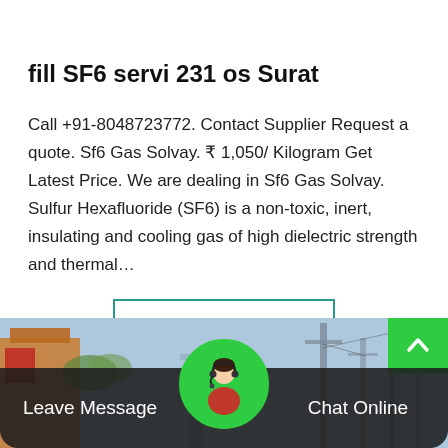fill SF6 servi 231 os Surat
Call +91-8048723772. Contact Supplier Request a quote. Sf6 Gas Solvay. ₹ 1,050/ Kilogram Get Latest Price. We are dealing in Sf6 Gas Solvay. Sulfur Hexafluoride (SF6) is a non-toxic, inert, insulating and cooling gas of high dielectric strength and thermal…
Get Price
[Figure (photo): Industrial electrical infrastructure with towers and equipment in the background]
Leave Message   Chat Online